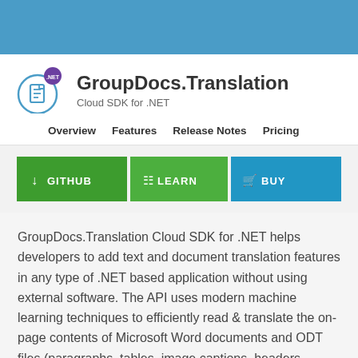GroupDocs.Translation
Cloud SDK for .NET
Overview
Features
Release Notes
Pricing
[Figure (other): Three action buttons: GITHUB (green), LEARN (green), BUY (blue)]
GroupDocs.Translation Cloud SDK for .NET helps developers to add text and document translation features in any type of .NET based application without using external software. The API uses modern machine learning techniques to efficiently read & translate the on-page contents of Microsoft Word documents and ODT files (paragraphs, tables, image captions, headers footers, footnotes, endnotes), Excel Worksheets and ODS (charts, tables, cells, pivot tables), PowerPoint presentations